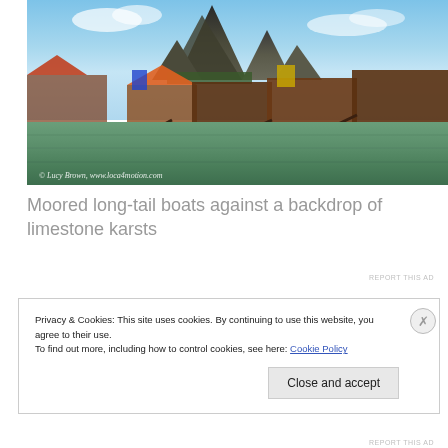[Figure (photo): Moored long-tail boats on green water against a backdrop of tall limestone karst mountains under a blue sky. Orange roofed building visible on the left. Watermark reads: © Lucy Brown, www.loca4motion.com]
Moored long-tail boats against a backdrop of limestone karsts
REPORT THIS AD
Privacy & Cookies: This site uses cookies. By continuing to use this website, you agree to their use.
To find out more, including how to control cookies, see here: Cookie Policy
Close and accept
REPORT THIS AD